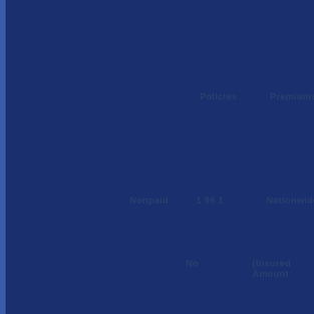Policies
Premiums
Nonpaid
1 96 1
Nationwide
No
(Insured Amount
Not
Licensed